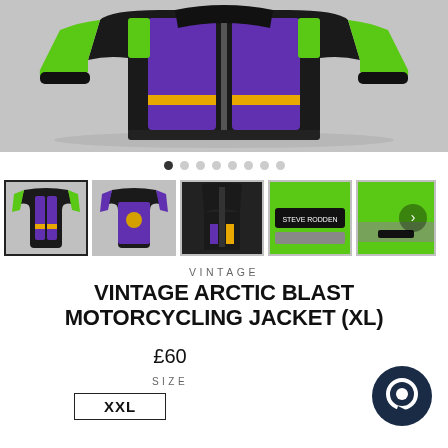[Figure (photo): Main product photo showing a vintage motorcycling jacket (black, green, purple, yellow) laid flat on a grey surface, viewed from the front]
[Figure (other): Image carousel navigation dots — 8 dots, first one filled/active]
[Figure (photo): Row of 5 thumbnail photos of the jacket from different angles: front, back, collar tag, logo patch, and side detail]
VINTAGE
VINTAGE ARCTIC BLAST MOTORCYCLING JACKET (XL)
£60
SIZE
XXL